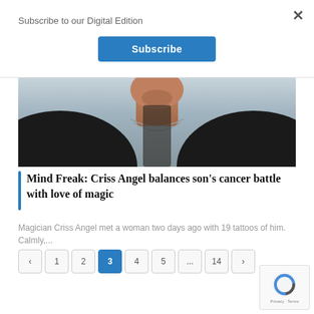Subscribe to our Digital Edition
×
Subscribe
[Figure (photo): Partial photo of a person (likely Criss Angel) wearing a black jacket with a chain necklace, showing neck and chest area against a grey background.]
Mind Freak: Criss Angel balances son's cancer battle with love of magic
Magician Criss Angel met a woman two days ago with 19 tattoos of him. Calmly,...
< 1 2 3 4 5 ... 14 >